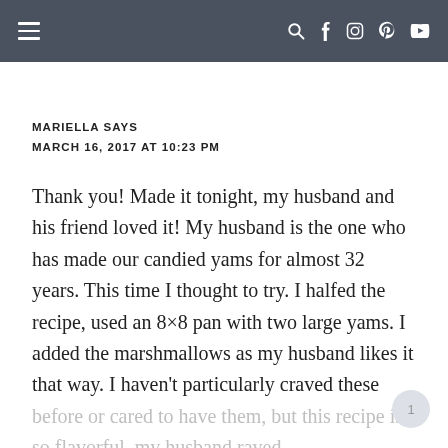≡   🔍 f 📷 p ▶
MARIELLA SAYS
MARCH 16, 2017 AT 10:23 PM
Thank you! Made it tonight, my husband and his friend loved it! My husband is the one who has made our candied yams for almost 32 years. This time I thought to try. I halfed the recipe, used an 8×8 pan with two large yams. I added the marshmallows as my husband likes it that way. I haven't particularly craved these before or cared to have them, but this recipe is so flavorful, my husband raved